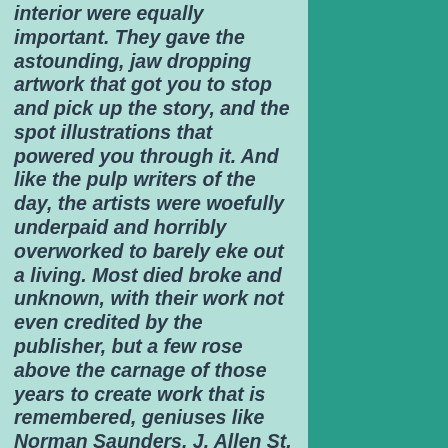interior were equally important. They gave the astounding, jaw dropping artwork that got you to stop and pick up the story, and the spot illustrations that powered you through it. And like the pulp writers of the day, the artists were woefully underpaid and horribly overworked to barely eke out a living. Most died broke and unknown, with their work not even credited by the publisher, but a few rose above the carnage of those years to create work that is remembered, geniuses like Norman Saunders, J. Allen St. John, Elliott Dold, George Rozen, Jerome Rozen, Rudolph Belarski, Frederick Blakeslee, John Newton Howitt, HJ Ward, Virgil Finley, and the criminally neglected Barye W. Phillips who did one